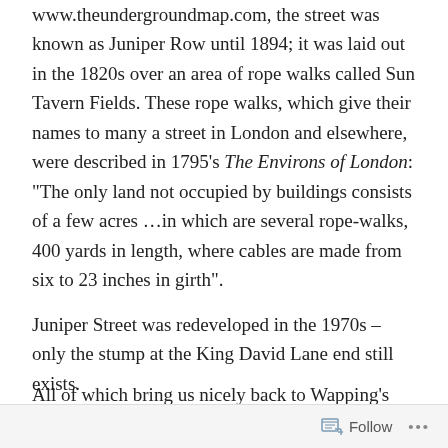www.theundergroundmap.com, the street was known as Juniper Row until 1894; it was laid out in the 1820s over an area of rope walks called Sun Tavern Fields. These rope walks, which give their names to many a street in London and elsewhere, were described in 1795's The Environs of London: “The only land not occupied by buildings consists of a few acres …in which are several rope-walks, 400 yards in length, where cables are made from six to 23 inches in girth”.
Juniper Street was redeveloped in the 1970s – only the stump at the King David Lane end still exists.
All of which bring us nicely back to Wapping’s Cinnamon Street; King David Lane leads on to The Highway,
Follow ...